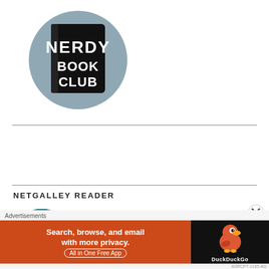[Figure (logo): Nerdy Book Club logo: a black open book on a grey-blue circle background with text NERDY BOOK CLUB in white hand-drawn lettering]
NETGALLEY READER
[Figure (logo): NetGalley Member Professional Reader badge: circular green badge with arrows and stars]
[Figure (other): Advertisement banner: DuckDuckGo ad reading 'Search, browse, and email with more privacy. All in One Free App' on orange background with DuckDuckGo logo on dark background]